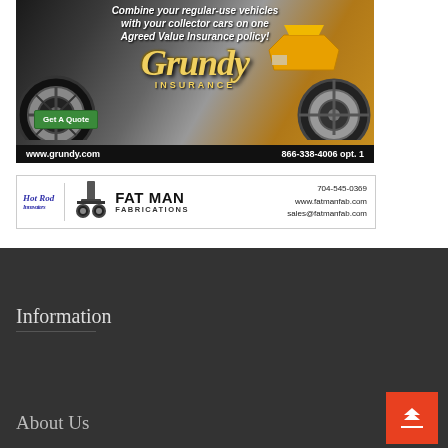[Figure (illustration): Grundy Insurance advertisement showing collector cars and regular vehicles, with script logo, Get A Quote button, website www.grundy.com and phone 866-338-4006 opt. 1]
[Figure (illustration): Hot Rod Innovators / Fat Man Fabrications banner ad with logo, phone 704-545-0369, www.fatmanfab.com, sales@fatmanfab.com]
Information
About Us